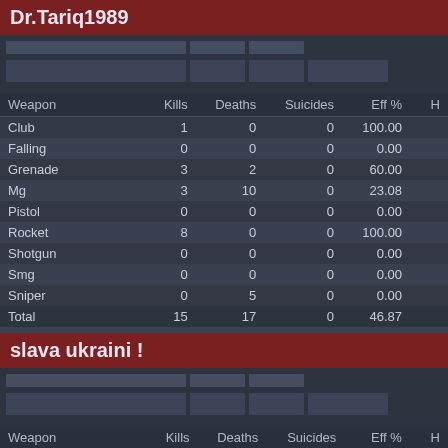Dr.Tariq1989
| Weapon | Kills | Deaths | Suicides | Eff % | H |
| --- | --- | --- | --- | --- | --- |
| Club | 1 | 0 | 0 | 100.00 |  |
| Falling | 0 | 0 | 0 | 0.00 |  |
| Grenade | 3 | 2 | 0 | 60.00 |  |
| Mg | 3 | 10 | 0 | 23.08 |  |
| Pistol | 0 | 0 | 0 | 0.00 |  |
| Rocket | 8 | 0 | 0 | 100.00 |  |
| Shotgun | 0 | 0 | 0 | 0.00 |  |
| Smg | 0 | 0 | 0 | 0.00 |  |
| Sniper | 0 | 5 | 0 | 0.00 |  |
| Total | 15 | 17 | 0 | 46.87 |  |
slava ukraini !
| Weapon | Kills | Deaths | Suicides | Eff % | H |
| --- | --- | --- | --- | --- | --- |
| Club | 0 | 0 | 0 | 0.00 |  |
| Falling | 0 | 0 | 0 | 0.00 |  |
| Grenade | 6 | 6 | 0 | 50.00 |  |
| Mg | 0 | 11 | 0 | 0.00 |  |
| Pistol | 0 | 1 | 0 | 0.00 |  |